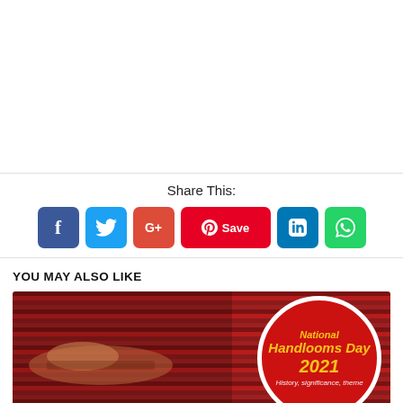Share This:
[Figure (infographic): Social share buttons: Facebook (blue), Twitter (light blue), Google+ (red), Pinterest Save (red/pink), LinkedIn (blue), WhatsApp (green)]
YOU MAY ALSO LIKE
[Figure (photo): National Handlooms Day 2021 promotional image showing hands working on red textile fabric with a circular badge overlay reading 'National Handlooms Day 2021 History, significance, theme']